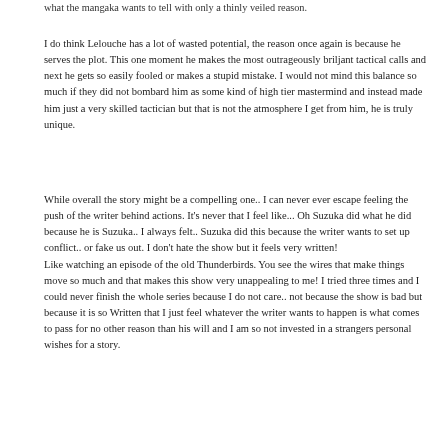what the mangaka wants to tell with only a thinly veiled reason.
I do think Lelouche has a lot of wasted potential, the reason once again is because he serves the plot. This one moment he makes the most outrageously briljant tactical calls and next he gets so easily fooled or makes a stupid mistake. I would not mind this balance so much if they did not bombard him as some kind of high tier mastermind and instead made him just a very skilled tactician but that is not the atmosphere I get from him, he is truly unique.
While overall the story might be a compelling one.. I can never ever escape feeling the push of the writer behind actions. It's never that I feel like... Oh Suzuka did what he did because he is Suzuka.. I always felt.. Suzuka did this because the writer wants to set up conflict.. or fake us out. I don't hate the show but it feels very written! Like watching an episode of the old Thunderbirds. You see the wires that make things move so much and that makes this show very unappealing to me! I tried three times and I could never finish the whole series because I do not care.. not because the show is bad but because it is so Written that I just feel whatever the writer wants to happen is what comes to pass for no other reason than his will and I am so not invested in a strangers personal wishes for a story.